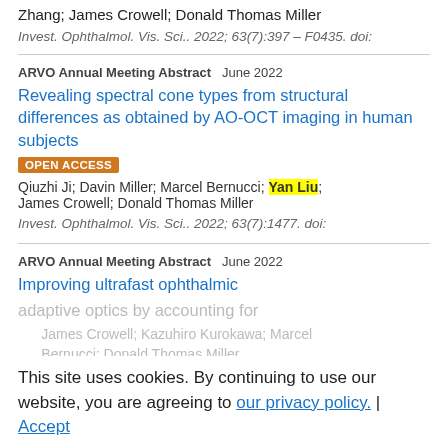Zhang; James Crowell; Donald Thomas Miller
Invest. Ophthalmol. Vis. Sci.. 2022; 63(7):397 – F0435. doi:
ARVO Annual Meeting Abstract   June 2022
Revealing spectral cone types from structural differences as obtained by AO-OCT imaging in human subjects
OPEN ACCESS
Qiuzhi Ji; Davin Miller; Marcel Bernucci; Yan Liu; James Crowell; Donald Thomas Miller
Invest. Ophthalmol. Vis. Sci.. 2022; 63(7):1477. doi:
ARVO Annual Meeting Abstract   June 2022
Improving ultrafast ophthalmic adaptive optics by accounting for
This site uses cookies. By continuing to use our website, you are agreeing to our privacy policy. | Accept
James Crowell; Kazuhiro Kurokawa; Marcel Bernucci; Donald Thomas Miller